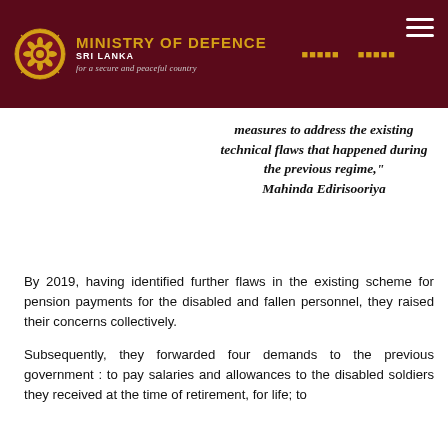MINISTRY OF DEFENCE SRI LANKA for a secure and peaceful country
measures to address the existing technical flaws that happened during the previous regime," Mahinda Edirisooriya
By 2019, having identified further flaws in the existing scheme for pension payments for the disabled and fallen personnel, they raised their concerns collectively.
Subsequently, they forwarded four demands to the previous government : to pay salaries and allowances to the disabled soldiers they received at the time of retirement, for life; to